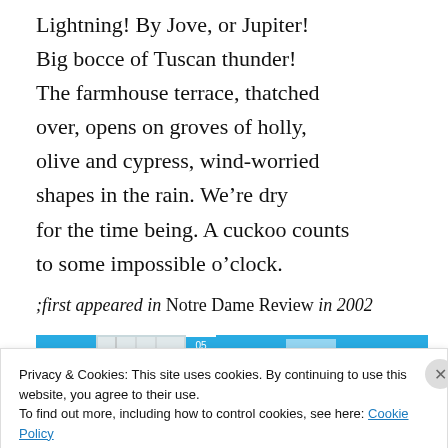Lightning! By Jove, or Jupiter!
Big bocce of Tuscan thunder!
The farmhouse terrace, thatched over, opens on groves of holly, olive and cypress, wind-worried shapes in the rain. We're dry for the time being. A cuckoo counts to some impossible o'clock.
;first appeared in Notre Dame Review in 2002
[Figure (screenshot): Navigation bar with blue background and a thumbnail image showing '05']
Privacy & Cookies: This site uses cookies. By continuing to use this website, you agree to their use.
To find out more, including how to control cookies, see here: Cookie Policy